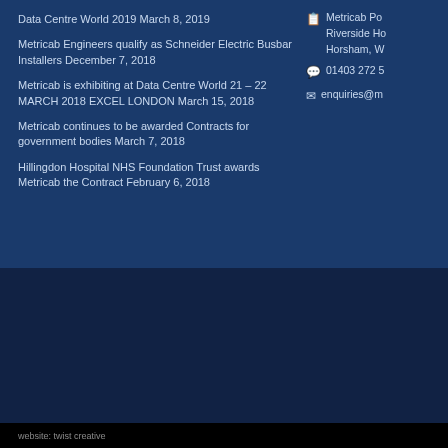Data Centre World 2019 March 8, 2019
Metricab Engineers qualify as Schneider Electric Busbar Installers December 7, 2018
Metricab is exhibiting at Data Centre World 21 – 22 MARCH 2018 EXCEL LONDON March 15, 2018
Metricab continues to be awarded Contracts for government bodies March 7, 2018
Hillingdon Hospital NHS Foundation Trust awards Metricab the Contract February 6, 2018
Metricab Po... Riverside Ho... Horsham, W...
01403 272 5...
enquiries@m...
website: twist creative